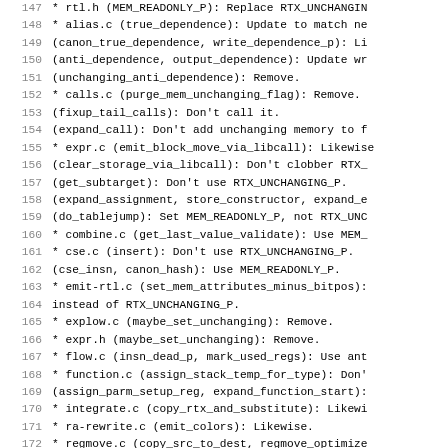Code listing lines 147-178 showing changelog entries for RTX_UNCHANGING_P and MEM_READONLY_P updates across various C source files including rtl.h, alias.c, calls.c, expr.c, combine.c, cse.c, emit-rtl.c, explow.c, flow.c, function.c, integrate.c, ra-rewrite.c, regmove.c, reload1.c, local-alloc.c, loop-invariant.c